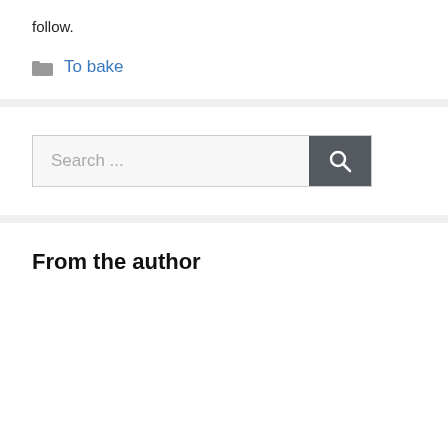follow.
To bake
[Figure (screenshot): Search bar with text 'Search ...' and a dark gray search button with magnifying glass icon]
From the author